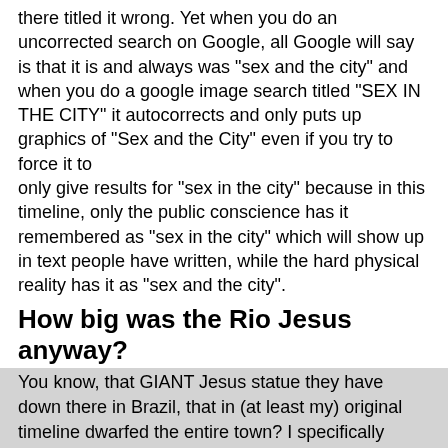there titled it wrong. Yet when you do an uncorrected search on Google, all Google will say is that it is and always was "sex and the city" and when you do a google image search titled "SEX IN THE CITY" it autocorrects and only puts up graphics of "Sex and the City" even if you try to force it to only give results for "sex in the city" because in this timeline, only the public conscience has it remembered as "sex in the city" which will show up in text people have written, while the hard physical reality has it as "sex and the city".
How big was the Rio Jesus anyway?
You know, that GIANT Jesus statue they have down there in Brazil, that in (at least my) original timeline dwarfed the entire town? I specifically remember that particular Jesus was over 300 feet tall, and that there was another giant Jesus in Peru that was just under 400 feet tall. How tall are they now? GET THIS: Neither are as tall as a 10 story building now! They look like ordinary large statues a big church might put up! And as it turns out, there is not a single Jesus statue anywhere in the world now that is over 120 feet tall when the base is subtracted!
And I do not know what to make of this.